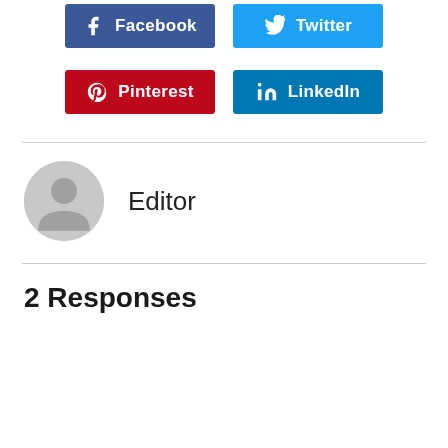[Figure (infographic): Social share buttons: Facebook (dark blue), Twitter (light blue), Pinterest (red), LinkedIn (blue)]
Editor
2 Responses